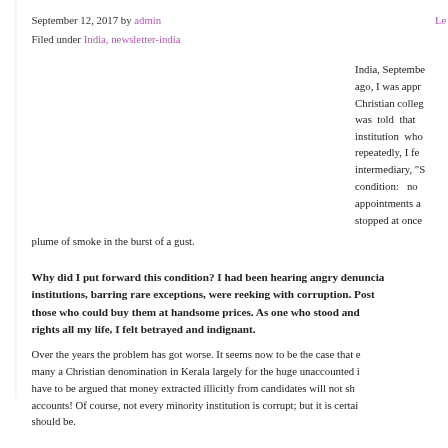September 12, 2017 by admin  Filed under India, newsletter-india
India, September ago, I was appr Christian college was told that institution who repeatedly, I fe intermediary, "S condition: no appointments a stopped at once plume of smoke in the burst of a gust.
Why did I put forward this condition? I had been hearing angry denunciations that institutions, barring rare exceptions, were reeking with corruption. Posts were sold to those who could buy them at handsome prices. As one who stood and fought for rights all my life, I felt betrayed and indignant.
Over the years the problem has got worse. It seems now to be the case that e many a Christian denomination in Kerala largely for the huge unaccounted i have to be argued that money extracted illicitly from candidates will not sh accounts! Of course, not every minority institution is corrupt; but it is certainl should be.